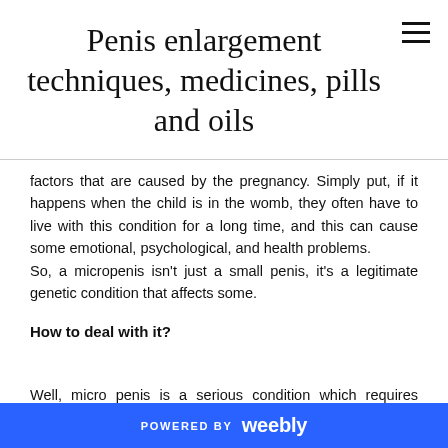Penis enlargement techniques, medicines, pills and oils
factors that are caused by the pregnancy. Simply put, if it happens when the child is in the womb, they often have to live with this condition for a long time, and this can cause some emotional, psychological, and health problems.
So, a micropenis isn't just a small penis, it's a legitimate genetic condition that affects some.
How to deal with it?
Well, micro penis is a serious condition which requires surgical intervention. Unlike other cases of reduced penis growth where an herbal or ayurvedic penis
POWERED BY weebly